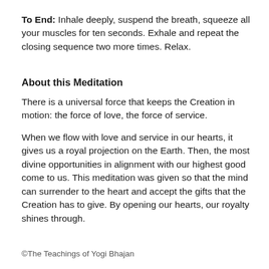To End: Inhale deeply, suspend the breath, squeeze all your muscles for ten seconds. Exhale and repeat the closing sequence two more times. Relax.
About this Meditation
There is a universal force that keeps the Creation in motion: the force of love, the force of service.
When we flow with love and service in our hearts, it gives us a royal projection on the Earth. Then, the most divine opportunities in alignment with our highest good come to us. This meditation was given so that the mind can surrender to the heart and accept the gifts that the Creation has to give. By opening our hearts, our royalty shines through.
©The Teachings of Yogi Bhajan